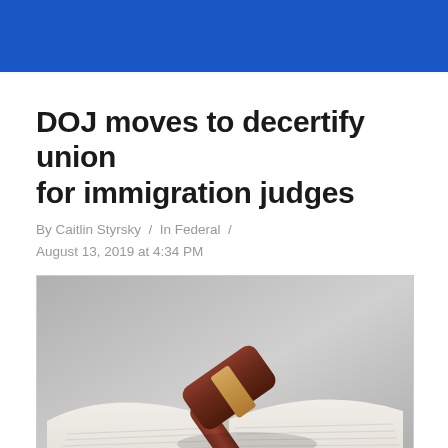DOJ moves to decertify union for immigration judges
By Caitlin Styrsky / In Federal / August 13, 2019 at 4:34 PM
[Figure (photo): A wooden judge's gavel resting on an open book, with a gray background. The gavel has a dark mahogany handle and head with lighter band accent.]